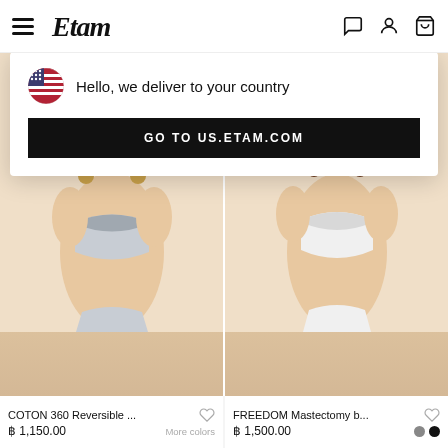Etam — navigation header with hamburger menu and icons
Hello, we deliver to your country
GO TO US.ETAM.COM
[Figure (photo): Female model wearing light grey COTON 360 Reversible bra on beige background]
[Figure (photo): Female model wearing white FREEDOM Mastectomy bra on beige background, arm raised]
COTON 360 Reversible ...
฿ 1,150.00
More colors
FREEDOM Mastectomy b...
฿ 1,500.00